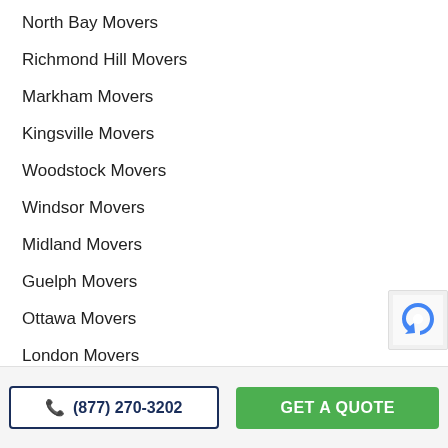North Bay Movers
Richmond Hill Movers
Markham Movers
Kingsville Movers
Woodstock Movers
Windsor Movers
Midland Movers
Guelph Movers
Ottawa Movers
London Movers
Long Distance Movers Hamilton
Cross Country Movers Hamilton
(877) 270-3202
GET A QUOTE